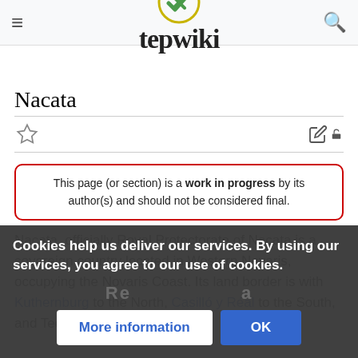tepwiki
Nacata
This page (or section) is a work in progress by its author(s) and should not be considered final.
Nacata, officially Royal Protectorate of Nacata is a sovereign country located in Western Novaris, occupying the Novaris Coast. Its land border is with Kuthernburg to the North, Casilló y Réal to the South, and Tedeschi to the
Cookies help us deliver our services. By using our services, you agree to our use of cookies.